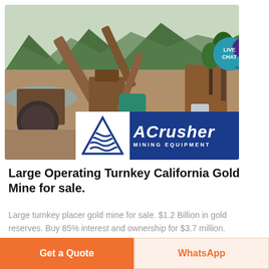[Figure (photo): Large mining equipment and conveyor systems at a placer gold mine site with mountains and river in background, with ACrusher Mining Equipment logo overlay at bottom]
Large Operating Turnkey California Gold Mine for sale.
Large turnkey placer gold mine for sale. $1.2 Billion in gold reserves. Buy 85% interest and ownership for $3.7 million.